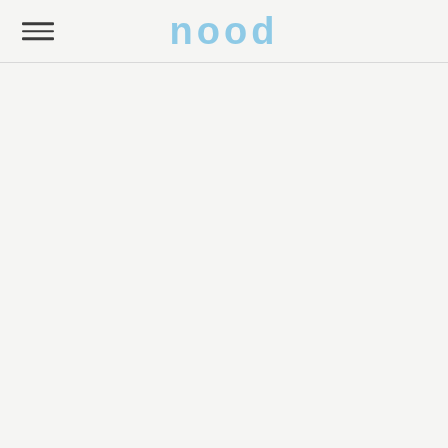nood
[Figure (other): Empty content area below header with light gray background]